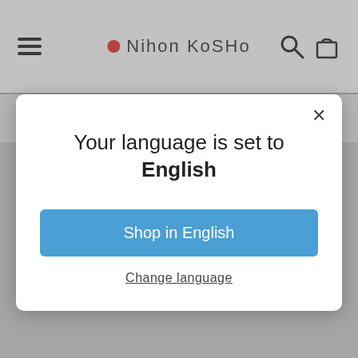[Figure (screenshot): Website navbar with hamburger menu, Nihon Kosho logo with red circle dot, search icon, and shopping bag icon on light gray background]
[Figure (screenshot): Payment method icons strip showing American Express, Apple Pay, Google Pay, Mastercard, PayPal, Shop Pay, and Visa on gray background]
Your language is set to English
Shop in English
Change language